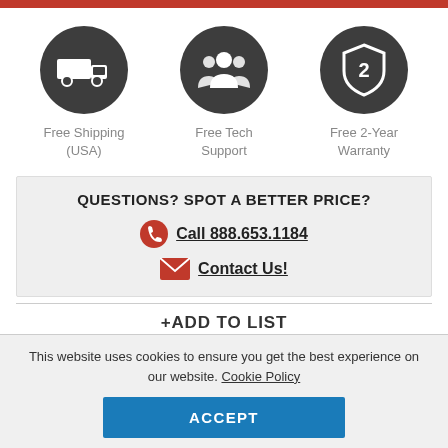[Figure (infographic): Three circular dark grey icons in a row: a delivery truck (Free Shipping USA), a group of people (Free Tech Support), and a shield with the number 2 (Free 2-Year Warranty)]
Free Shipping (USA)
Free Tech Support
Free 2-Year Warranty
QUESTIONS? SPOT A BETTER PRICE?
Call 888.653.1184
Contact Us!
+ADD TO LIST
This website uses cookies to ensure you get the best experience on our website. Cookie Policy
ACCEPT